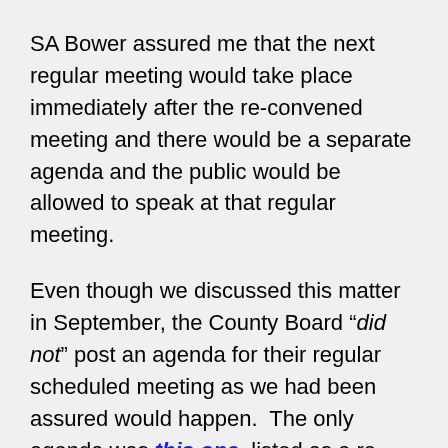SA Bower assured me that the next regular meeting would take place immediately after the re-convened meeting and there would be a separate agenda and the public would be allowed to speak at that regular meeting.
Even though we discussed this matter in September, the County Board “did not” post an agenda for their regular scheduled meeting as we had been assured would happen.  The only agenda was this one, listed as a re-convened meeting.  The problem comes with the fact the re-convened meeting must have the same agenda from the meeting that was recessed. The re-convened meeting agenda listed three items for action that were not contained in the previous agenda, thus a violation of the Open Meetings Act.